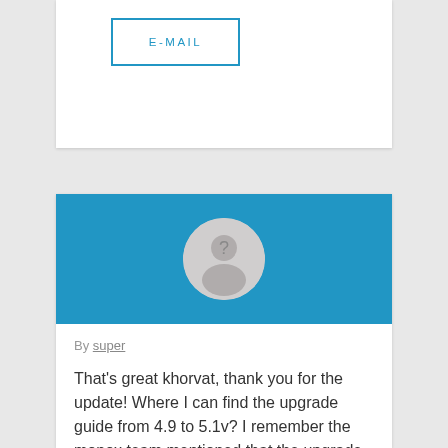E-MAIL
[Figure (illustration): Blue banner with circular avatar placeholder showing a silhouette with a question mark]
By super
That's great khorvat, thank you for the update! Where I can find the upgrade guide from 4.9 to 5.1v? I remember the monox team mentioned that the upgrade process won't be straight forward as there will be some major changes in money from development side as the upgrade